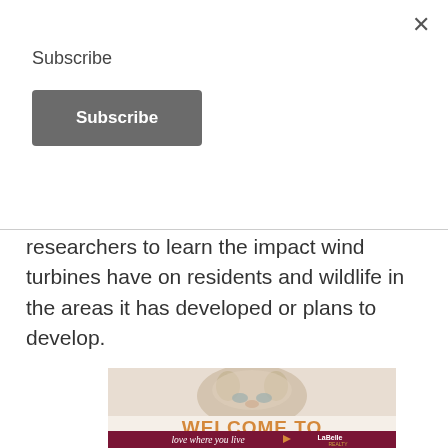Subscribe
Subscribe (button)
researchers to learn the impact wind turbines have on residents and wildlife in the areas it has developed or plans to develop.
[Figure (advertisement): Advertisement image showing a kitten with blue eyes lying down, with text 'WELCOME TO' in orange and 'love where you live' in cursive with LaBelle Realty logo on dark red background.]